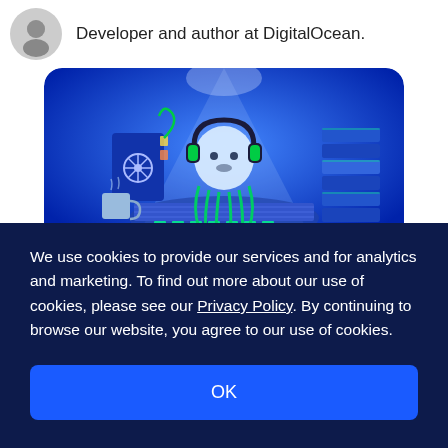Developer and author at DigitalOcean.
[Figure (illustration): DigitalOcean mascot (jellyfish/shark character) wearing headphones, sitting at a desk with a book, keyboard, coffee mug, and stack of books, all rendered in blue tones with green accent lighting]
We use cookies to provide our services and for analytics and marketing. To find out more about our use of cookies, please see our Privacy Policy. By continuing to browse our website, you agree to our use of cookies.
OK